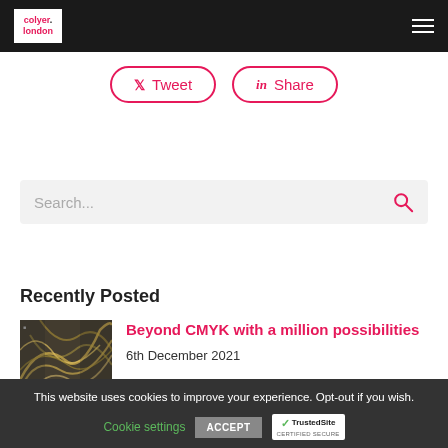colyer.london [logo] [hamburger menu]
Tweet  Share
Search...
Recently Posted
[Figure (photo): Thumbnail image of abstract print/design in black and gold]
Beyond CMYK with a million possibilities
6th December 2021
This website uses cookies to improve your experience. Opt-out if you wish. Cookie settings  ACCEPT  TrustedSite CERTIFIED SECURE